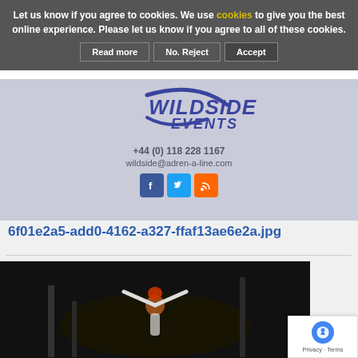Let us know if you agree to cookies. We use cookies to give you the best online experience. Please let us know if you agree to all of these cookies.
Read more | No. Reject | Accept
[Figure (logo): Wildside Events logo with swoosh graphic, phone +44 (0) 118 228 1167, email wildside@adren-a-line.com, and Facebook, Twitter, RSS social icons]
6f01e2a5-add0-4162-a327-ffaf13ae6e2a.jpg
[Figure (photo): Racing driver celebrating victory with arms raised, standing in dark arena at night]